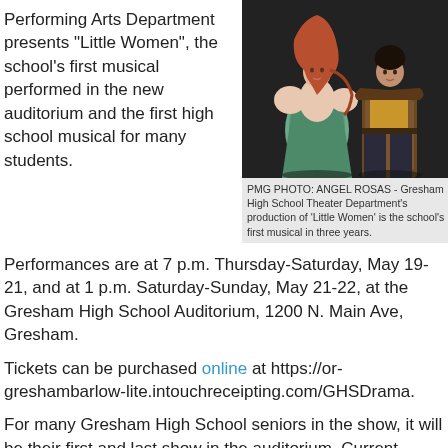Performing Arts Department presents "Little Women", the school's first musical performed in the new auditorium and the first high school musical for many students.
[Figure (photo): Two performers on stage in costume for the Gresham High School Theater Department production of 'Little Women'. One performer wears a light green period gown, the other a brown/gold period costume, against a dark background.]
PMG PHOTO: ANGEL ROSAS - Gresham High School Theater Department's production of 'Little Women' is the school's first musical in three years.
Performances are at 7 p.m. Thursday-Saturday, May 19-21, and at 1 p.m. Saturday-Sunday, May 21-22, at the Gresham High School Auditorium, 1200 N. Main Ave, Gresham.
Tickets can be purchased online at https://or-greshambarlow-lite.intouchreceipting.com/GHSDrama.
For many Gresham High School seniors in the show, it will be their first and last show in the auditorium. Current seniors started school in fall 2018, just as the original high school auditorium was demolished during the spring to make way for a new, state-of-the-art facility. Freshmen in 2019 held their first "theater" performance in a local church.